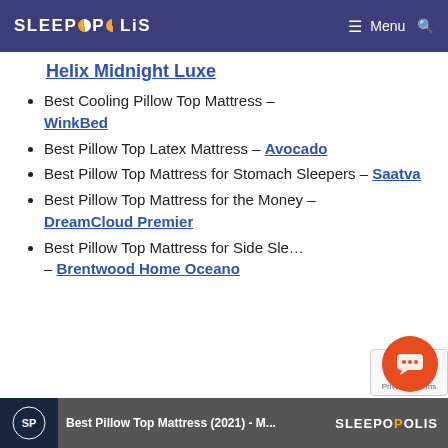SLEEPOPOLIS | Menu
Helix Midnight Luxe
Best Cooling Pillow Top Mattress – WinkBed
Best Pillow Top Latex Mattress – Avocado
Best Pillow Top Mattress for Stomach Sleepers – Saatva
Best Pillow Top Mattress for the Money – DreamCloud Premier
Best Pillow Top Mattress for Side Sleepers – Brentwood Home Oceano
[Figure (screenshot): Video thumbnail bar at bottom showing Sleepopolis Best Pillow Top Mattress (2021) video]